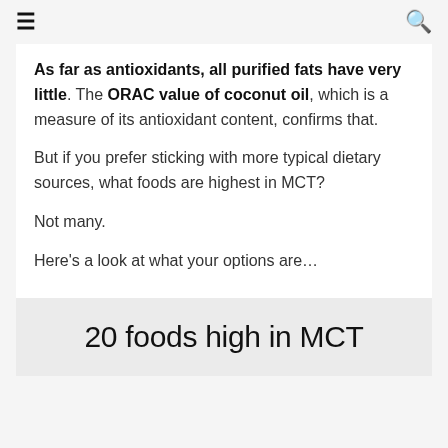≡  🔍
As far as antioxidants, all purified fats have very little. The ORAC value of coconut oil, which is a measure of its antioxidant content, confirms that.
But if you prefer sticking with more typical dietary sources, what foods are highest in MCT?
Not many.
Here's a look at what your options are…
20 foods high in MCT